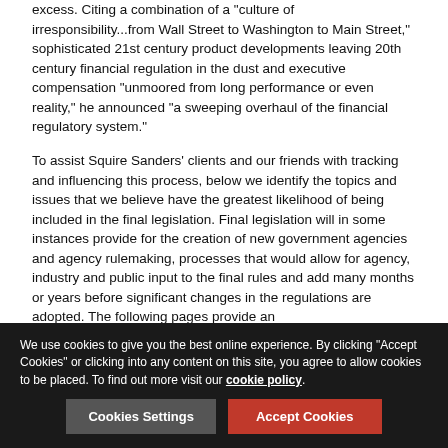excess. Citing a combination of a "culture of irresponsibility...from Wall Street to Washington to Main Street," sophisticated 21st century product developments leaving 20th century financial regulation in the dust and executive compensation "unmoored from long performance or even reality," he announced "a sweeping overhaul of the financial regulatory system."
To assist Squire Sanders' clients and our friends with tracking and influencing this process, below we identify the topics and issues that we believe have the greatest likelihood of being included in the final legislation. Final legislation will in some instances provide for the creation of new government agencies and agency rulemaking, processes that would allow for agency, industry and public input to the final rules and add many months or years before significant changes in the regulations are adopted. The following pages provide an
We use cookies to give you the best online experience. By clicking "Accept Cookies" or clicking into any content on this site, you agree to allow cookies to be placed. To find out more visit our cookie policy.